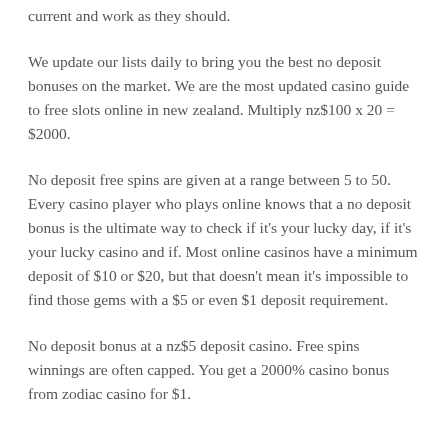current and work as they should.
We update our lists daily to bring you the best no deposit bonuses on the market. We are the most updated casino guide to free slots online in new zealand. Multiply nz$100 x 20 = $2000.
No deposit free spins are given at a range between 5 to 50. Every casino player who plays online knows that a no deposit bonus is the ultimate way to check if it's your lucky day, if it's your lucky casino and if. Most online casinos have a minimum deposit of $10 or $20, but that doesn't mean it's impossible to find those gems with a $5 or even $1 deposit requirement.
No deposit bonus at a nz$5 deposit casino. Free spins winnings are often capped. You get a 2000% casino bonus from zodiac casino for $1.